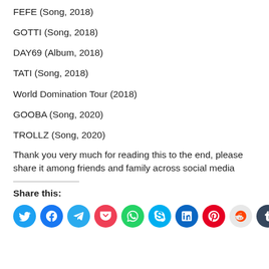FEFE (Song, 2018)
GOTTI (Song, 2018)
DAY69 (Album, 2018)
TATI (Song, 2018)
World Domination Tour (2018)
GOOBA (Song, 2020)
TROLLZ (Song, 2020)
Thank you very much for reading this to the end, please share it among friends and family across social media
Share this:
[Figure (infographic): Row of social media share icon buttons: Twitter, Facebook, Telegram, Pocket, WhatsApp, Skype, LinkedIn, Pinterest, Reddit, Tumblr]